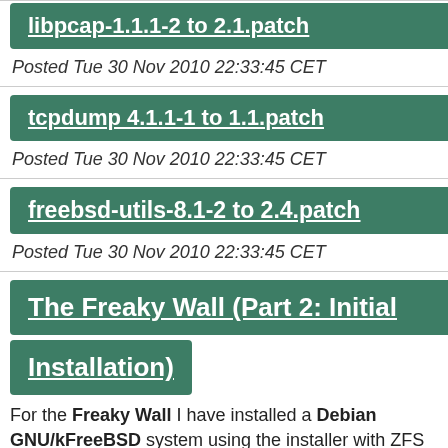libpcap-1.1.1-2 to 2.1.patch
Posted Tue 30 Nov 2010 22:33:45 CET
tcpdump 4.1.1-1 to 1.1.patch
Posted Tue 30 Nov 2010 22:33:45 CET
freebsd-utils-8.1-2 to 2.4.patch
Posted Tue 30 Nov 2010 22:33:45 CET
The Freaky Wall (Part 2: Initial Installation)
For the Freaky Wall I have installed a Debian GNU/kFreeBSD system using the installer with ZFS support announced on: